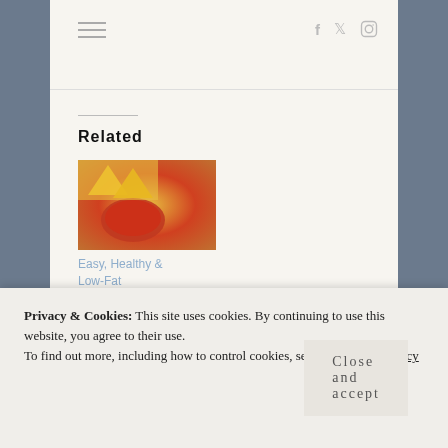Navigation bar with hamburger menu and social icons (Facebook, Twitter, Instagram)
Related
[Figure (photo): Bowl of red salsa with tortilla chips and vegetables]
Easy, Healthy & Low-Fat Homemade Salsa
February 6, 2019
In "500 Calories or Less"
[Figure (photo): Chocolate brownie waffles on a plate with blue checked cloth]
Super Easy Chocolate Brownie Waffles
January 11, 2019
In "Breakfast"
[Figure (photo): Partial view of a food dish, possibly flatbread or naan]
July 30, 2019
Privacy & Cookies: This site uses cookies. By continuing to use this website, you agree to their use.
To find out more, including how to control cookies, see here: Cookie Policy
Close and accept